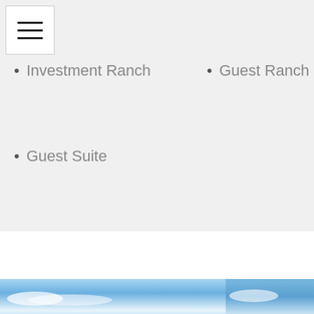Investment Ranch
Guest Ranch
Guest Suite
[Figure (photo): Sky with clouds, two side-by-side photos at the bottom of the page]